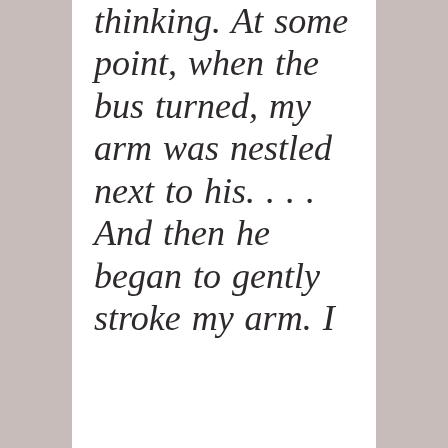what I was thinking. At some point, when the bus turned, my arm was nestled next to his. . . . And then he began to gently stroke my arm. I